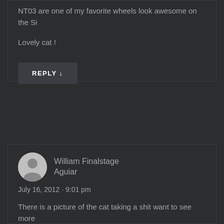NT03 are one of my favorite wheels look awesome on the Si
Lovely cat !
REPLY ↓
William Finalstage Aguiar
July 16, 2012 · 9:01 pm
There is a picture of the cat taking a shit want to see more